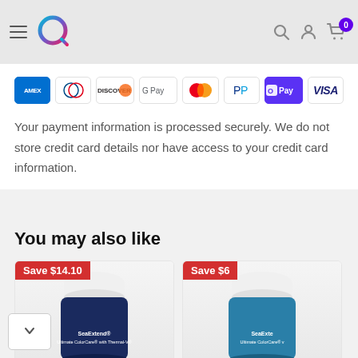Navigation header with hamburger menu, Q logo, search, account, and cart icons
[Figure (logo): Payment method icons: Amex, Diners Club, Discover, Google Pay, Mastercard, PayPal, Apple Pay, Visa]
Your payment information is processed securely. We do not store credit card details nor have access to your credit card information.
You may also like
[Figure (photo): Product card with Save $14.10 badge and SeaExtend Ultimate ColorCare with Thermal-V container]
[Figure (photo): Product card with Save $6 badge and SeaExtend Ultimate ColorCare container]